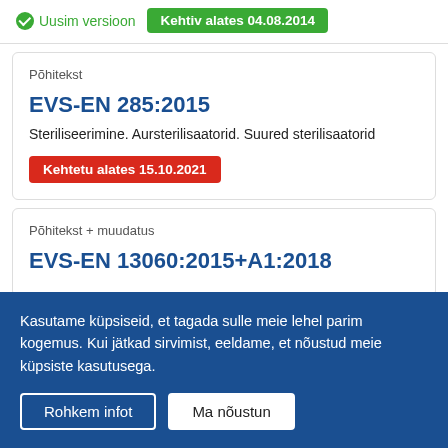Uusim versioon
Kehtiv alates 04.08.2014
Põhitekst
EVS-EN 285:2015
Steriliseerimine. Aursterilisaatorid. Suured sterilisaatorid
Kehtetu alates 15.10.2021
Põhitekst + muudatus
EVS-EN 13060:2015+A1:2018
Kasutame küpsiseid, et tagada sulle meie lehel parim kogemus. Kui jätkad sirvimist, eeldame, et nõustud meie küpsiste kasutusega.
Rohkem infot
Ma nõustun